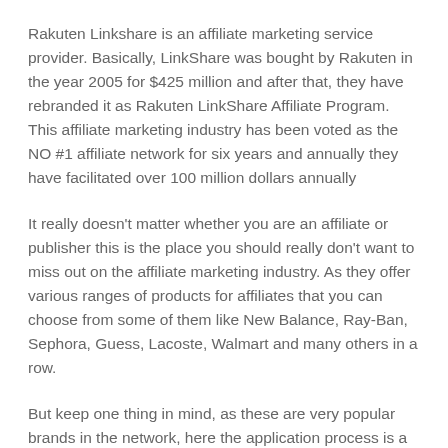Rakuten Linkshare is an affiliate marketing service provider. Basically, LinkShare was bought by Rakuten in the year 2005 for $425 million and after that, they have rebranded it as Rakuten LinkShare Affiliate Program. This affiliate marketing industry has been voted as the NO #1 affiliate network for six years and annually they have facilitated over 100 million dollars annually
It really doesn't matter whether you are an affiliate or publisher this is the place you should really don't want to miss out on the affiliate marketing industry. As they offer various ranges of products for affiliates that you can choose from some of them like New Balance, Ray-Ban, Sephora, Guess, Lacoste, Walmart and many others in a row.
But keep one thing in mind, as these are very popular brands in the network, here the application process is a bit complicated. If you have already created an affiliate account with them